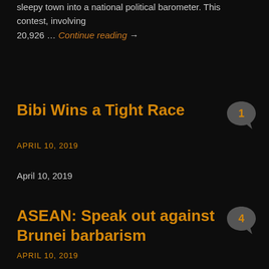sleepy town into a national political barometer. This contest, involving 20,926 … Continue reading →
Bibi Wins a Tight Race
APRIL 10, 2019
April 10, 2019
ASEAN: Speak out against Brunei barbarism
APRIL 10, 2019
April 10, 2019 ASEAN: Speak out against Brunei barbarism Bangkok Post /Share: ttps://www.khmertimeskh.com/50594315/asean-speak-out-against-barbarism/ Wikipedia While the world is fixated on Brunei's plan to fully implement Islamic Sharia law, which will see draconian punishments such as stoning to death for offences such as adultery and